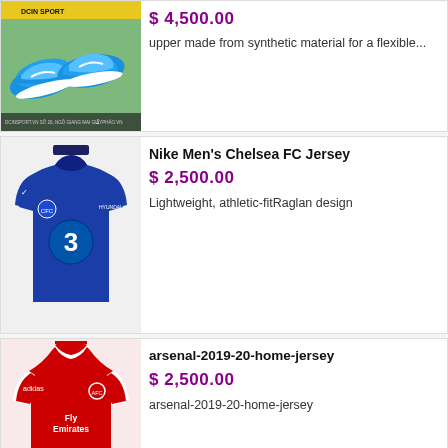[Figure (photo): Blue Nike football boots on green grass background with DCIN SPORT store branding]
$4,500.00
upper made from synthetic material for a flexible...
[Figure (photo): Nike Men's Chelsea FC blue jersey with Three mobile and Hyundai sponsor logos]
Nike Men's Chelsea FC Jersey
$2,500.00
Lightweight, athletic-fitRaglan design
[Figure (photo): Arsenal 2019-20 red home jersey with Fly Emirates sponsor logo by Adidas]
arsenal-2019-20-home-jersey
$2,500.00
arsenal-2019-20-home-jersey